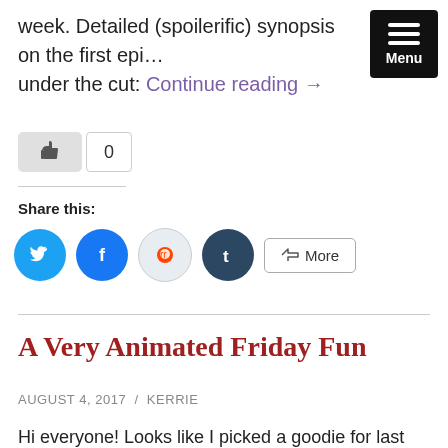week. Detailed (spoilerific) synopsis on the first epi… under the cut: Continue reading →
[Figure (other): Menu button (hamburger icon with three white bars on black background, labeled 'Menu')]
[Figure (other): Like/thumbs-up button (grey rounded rectangle with thumbs-up icon) with count badge showing 0]
Share this:
[Figure (other): Social sharing icons: Twitter (blue circle with bird), Facebook (blue circle with f), Reddit (light blue circle with alien), Tumblr (dark circle with t), and a More button]
A Very Animated Friday Fun
AUGUST 4, 2017 / KERRIE
Hi everyone! Looks like I picked a goodie for last week's hashtag, a lot of you were having a whale of a time with